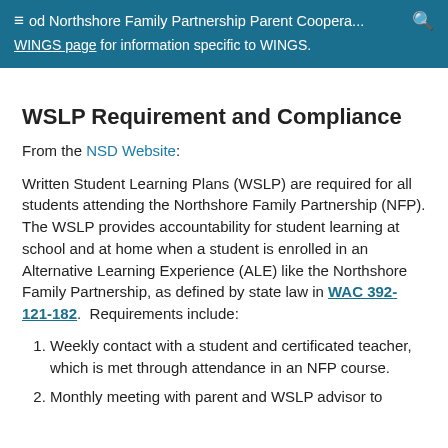≡ od Northshore Family Partnership Parent Coopera... WINGS page for information specific to WINGS.
WSLP Requirement and Compliance
From the NSD Website:
Written Student Learning Plans (WSLP) are required for all students attending the Northshore Family Partnership (NFP). The WSLP provides accountability for student learning at school and at home when a student is enrolled in an Alternative Learning Experience (ALE) like the Northshore Family Partnership, as defined by state law in WAC 392-121-182. Requirements include:
1. Weekly contact with a student and certificated teacher, which is met through attendance in an NFP course.
2. Monthly meeting with parent and WSLP advisor to